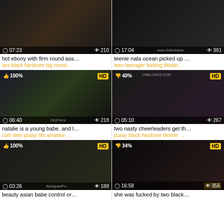[Figure (screenshot): Video thumbnail grid showing 6 adult video thumbnails in 2-column layout with titles, tags, duration, views, HD badges]
hot ebony with firm round ass…
sex black hardcore big round…
teenie nata ocean picked up …
teen teenager fucking blowjo…
natalie is a young babe, and l…
cum teen pussy tits amateur …
two nasty cheerleaders get th…
pussy black hardcore blonde …
beauty asian babe control or…
she was fucked by two black…